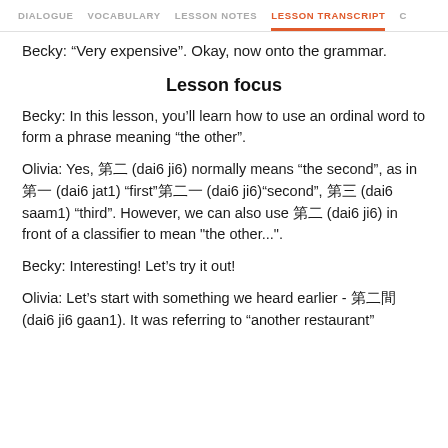DIALOGUE   VOCABULARY   LESSON NOTES   LESSON TRANSCRIPT   C
Becky: “Very expensive”. Okay, now onto the grammar.
Lesson focus
Becky: In this lesson, you’ll learn how to use an ordinal word to form a phrase meaning “the other”.
Olivia: Yes, 第二 (dai6 ji6) normally means “the second”, as in 第一 (dai6 jat1) “first”第二一 (dai6 ji6)“second”, 第三 (dai6 saam1) “third”. However, we can also use 第二 (dai6 ji6) in front of a classifier to mean "the other...".
Becky: Interesting! Let’s try it out!
Olivia: Let’s start with something we heard earlier - 第二間 (dai6 ji6 gaan1). It was referring to “another restaurant”